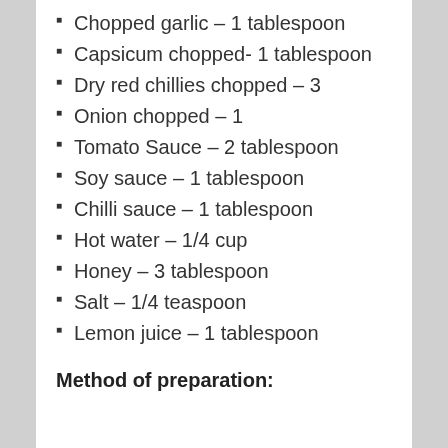Chopped garlic – 1 tablespoon
Capsicum chopped- 1 tablespoon
Dry red chillies chopped – 3
Onion chopped – 1
Tomato Sauce – 2 tablespoon
Soy sauce – 1 tablespoon
Chilli sauce – 1 tablespoon
Hot water – 1/4 cup
Honey – 3 tablespoon
Salt – 1/4 teaspoon
Lemon juice – 1 tablespoon
Method of preparation: